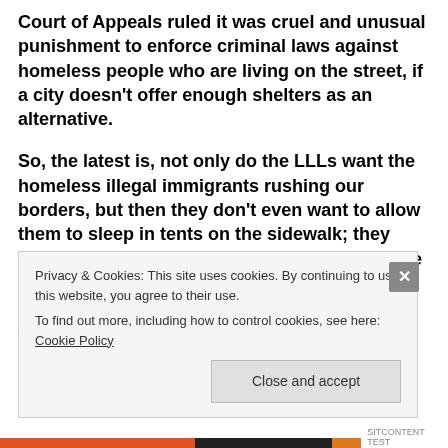Court of Appeals ruled it was cruel and unusual punishment to enforce criminal laws against homeless people who are living on the street, if a city doesn't offer enough shelters as an alternative.
So, the latest is, not only do the LLLs want the homeless illegal immigrants rushing our borders, but then they don't even want to allow them to sleep in tents on the sidewalk; they torture them by not allowing them to sleep, pee or poop anywhere!
And so the killing begins!
Privacy & Cookies: This site uses cookies. By continuing to use this website, you agree to their use.
To find out more, including how to control cookies, see here: Cookie Policy